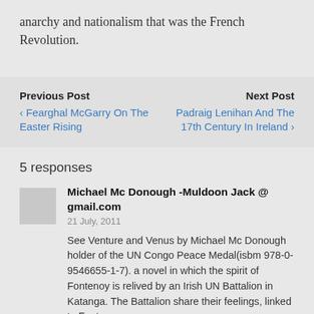anarchy and nationalism that was the French Revolution.
Previous Post
‹ Fearghal McGarry On The Easter Rising
Next Post
Padraig Lenihan And The 17th Century In Ireland ›
5 responses
Michael Mc Donough -Muldoon Jack @ gmail.com
21 July, 2011
See Venture and Venus by Michael Mc Donough holder of the UN Congo Peace Medal(isbm 978-0-9546655-1-7). a novel in which the spirit of Fontenoy is relived by an Irish UN Battalion in Katanga. The Battalion share their feelings, linked to Fontenoy,